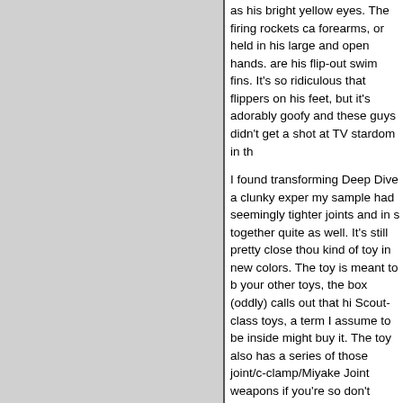as his bright yellow eyes. The firing rockets ca forearms, or held in his large and open hands. are his flip-out swim fins. It's so ridiculous that flippers on his feet, but it's adorably goofy and these guys didn't get a shot at TV stardom in th
I found transforming Deep Dive a clunky exper my sample had seemingly tighter joints and in s together quite as well. It's still pretty close thou kind of toy in new colors. The toy is meant to b your other toys, the box (oddly) calls out that hi Scout-class toys, a term I assume to be inside might buy it. The toy also has a series of those joint/c-clamp/Miyake Joint weapons if you're so don't exactly have a bunch of those, well, who
I didn't want this toy at the $25 or so prices ask hunting for this guy and am quite happy with hi Sea Spray if you find him) are both totally delig are better than numerous deluxe toys. They fee chunky than their blister-carded cousins, and fe voyagers-- Bludgeon/Banzaitron, I'm looking at more of a toy than the other, slightly more fragi say get this one and be happy. I think your kids
--Adam Pawlus